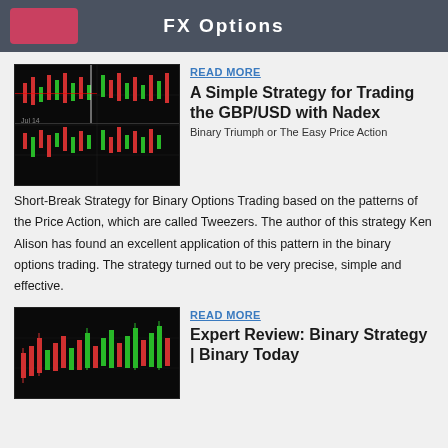FX Options
READ MORE
A Simple Strategy for Trading the GBP/USD with Nadex
Binary Triumph or The Easy Price Action Short-Break Strategy for Binary Options Trading based on the patterns of the Price Action, which are called Tweezers. The author of this strategy Ken Alison has found an excellent application of this pattern in the binary options trading. The strategy turned out to be very precise, simple and effective.
[Figure (screenshot): Screenshot of trading platform showing candlestick charts with multiple panels, green and red candlesticks on dark background]
READ MORE
Expert Review: Binary Strategy | Binary Today
[Figure (screenshot): Screenshot of trading chart with red and green candlestick patterns on dark background]